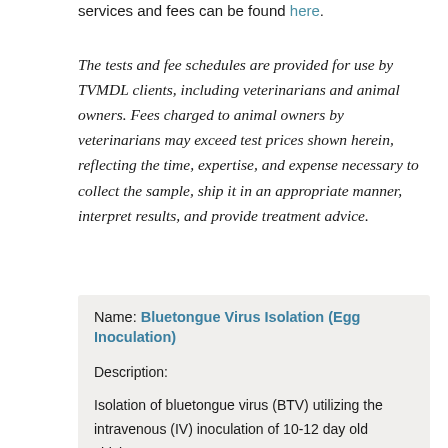services and fees can be found here.
The tests and fee schedules are provided for use by TVMDL clients, including veterinarians and animal owners. Fees charged to animal owners by veterinarians may exceed test prices shown herein, reflecting the time, expertise, and expense necessary to collect the sample, ship it in an appropriate manner, interpret results, and provide treatment advice.
Name: Bluetongue Virus Isolation (Egg Inoculation)
Description:
Isolation of bluetongue virus (BTV) utilizing the intravenous (IV) inoculation of 10-12 day old chicken eggs.